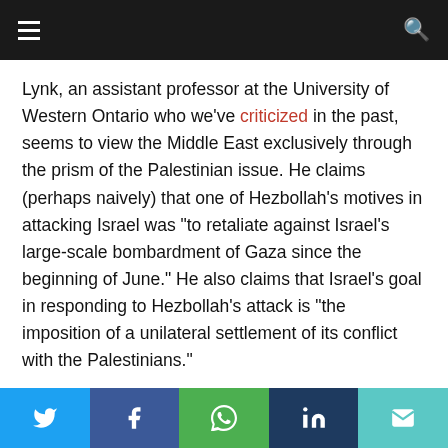≡  Q
Lynk, an assistant professor at the University of Western Ontario who we've criticized in the past, seems to view the Middle East exclusively through the prism of the Palestinian issue. He claims (perhaps naively) that one of Hezbollah's motives in attacking Israel was "to retaliate against Israel's large-scale bombardment of Gaza since the beginning of June." He also claims that Israel's goal in responding to Hezbollah's attack is "the imposition of a unilateral settlement of its conflict with the Palestinians."
What do you think of Lynk's op-ed? Let us know in the
[Figure (infographic): Social share buttons: Twitter (blue), Facebook (dark blue), WhatsApp (green), LinkedIn (dark navy), Email (teal)]